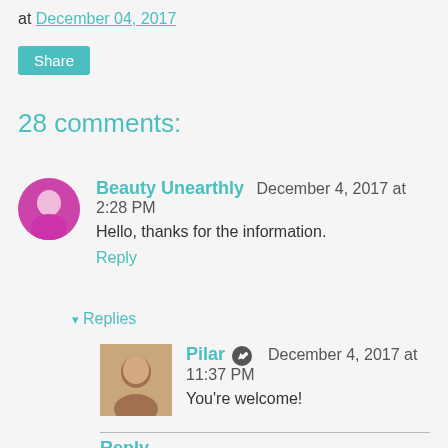at December 04, 2017
Share
28 comments:
Beauty Unearthly  December 4, 2017 at 2:28 PM
Hello, thanks for the information.
Reply
▾ Replies
Pilar  December 4, 2017 at 11:37 PM
You're welcome!
Reply
Marie  December 4, 2017 at 2:31 PM